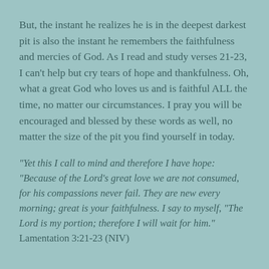But, the instant he realizes he is in the deepest darkest pit is also the instant he remembers the faithfulness and mercies of God. As I read and study verses 21-23, I can't help but cry tears of hope and thankfulness. Oh, what a great God who loves us and is faithful ALL the time, no matter our circumstances. I pray you will be encouraged and blessed by these words as well, no matter the size of the pit you find yourself in today.
“Yet this I call to mind and therefore I have hope: “Because of the Lord’s great love we are not consumed, for his compassions never fail. They are new every morning; great is your faithfulness. I say to myself, “The Lord is my portion; therefore I will wait for him.” Lamentation 3:21-23 (NIV)